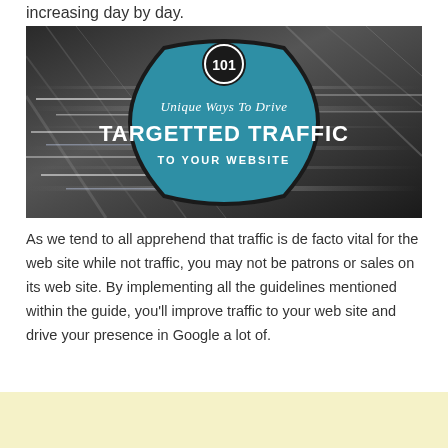increasing day by day.
[Figure (illustration): Infographic banner with a blurred highway background, a blue badge shape in the center with text '101 Unique Ways To Drive TARGETTED TRAFFIC TO YOUR WEBSITE']
As we tend to all apprehend that traffic is de facto vital for the web site while not traffic, you may not be patrons or sales on its web site. By implementing all the guidelines mentioned within the guide, you'll improve traffic to your web site and drive your presence in Google a lot of.